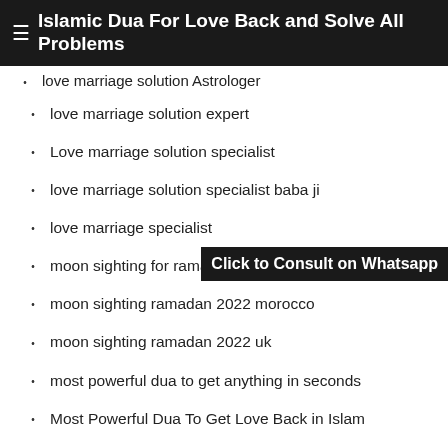Islamic Dua For Love Back and Solve All Problems
love marriage solution Astrologer
love marriage solution expert
Love marriage solution specialist
love marriage solution specialist baba ji
love marriage specialist
moon sighting for ramadan 2022 in nigeria
moon sighting ramadan 2022 morocco
moon sighting ramadan 2022 uk
most powerful dua to get anything in seconds
Most Powerful Dua To Get Love Back in Islam
Muslim taweez to lost love back